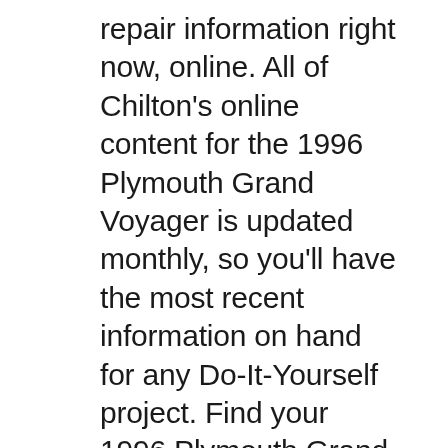repair information right now, online. All of Chilton's online content for the 1996 Plymouth Grand Voyager is updated monthly, so you'll have the most recent information on hand for any Do-It-Yourself project. Find your 1996 Plymouth Grand Voyager repair manual right now at Chilton., Get access to our 1996 Plymouth Voyager repair information right now, online. All of Chilton's online content for the 1996 Plymouth Voyager is updated monthly, so you'll have the most recent information on hand for any Do-It-Yourself project. Find your 1996 Plymouth Voyager repair manual right now at Chilton..